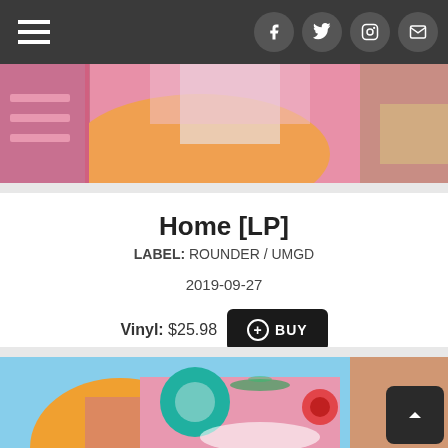Navigation bar with hamburger menu and social icons (Facebook, Twitter, Instagram, Email)
[Figure (illustration): Colorful psychedelic illustrated artwork cropped at top - portion of an LP album cover artwork with pink, orange, teal colors]
Home [LP]
LABEL: ROUNDER / UMGD
2019-09-27
Vinyl: $25.98  + BUY
[Figure (illustration): Colorful psychedelic illustrated LP album cover artwork with dragonfly, flowers, figures in pink, blue, orange teal pop art style]